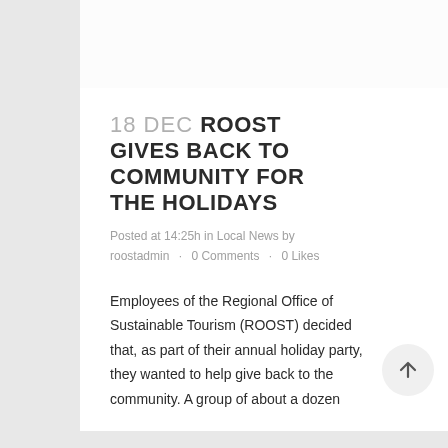18 DEC ROOST GIVES BACK TO COMMUNITY FOR THE HOLIDAYS
Posted at 14:25h in Local News by roostadmin · 0 Comments · 0 Likes
Employees of the Regional Office of Sustainable Tourism (ROOST) decided that, as part of their annual holiday party, they wanted to help give back to the community. A group of about a dozen